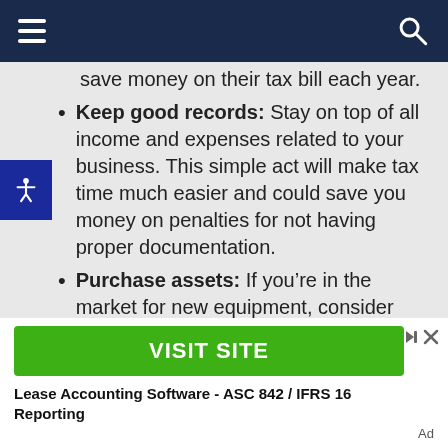Navigation bar with hamburger menu and search icon
save money on their tax bill each year.
Keep good records: Stay on top of all income and expenses related to your business. This simple act will make tax time much easier and could save you money on penalties for not having proper documentation.
Purchase assets: If you're in the market for new equipment, consider buying it at the end of a tax year or the beginning of a new one. Doing this will allow your
[Figure (infographic): Green VISIT SITE advertisement button with ad controls (skip/close icons)]
Lease Accounting Software - ASC 842 / IFRS 16 Reporting
Ad